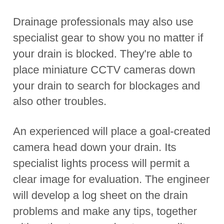Drainage professionals may also use specialist gear to show you no matter if your drain is blocked. They're able to place miniature CCTV cameras down your drain to search for blockages and also other troubles.
An experienced will place a goal-created camera head down your drain. Its specialist lights process will permit a clear image for evaluation. The engineer will develop a log sheet on the drain problems and make any tips, together with estimate approximate expenditures.